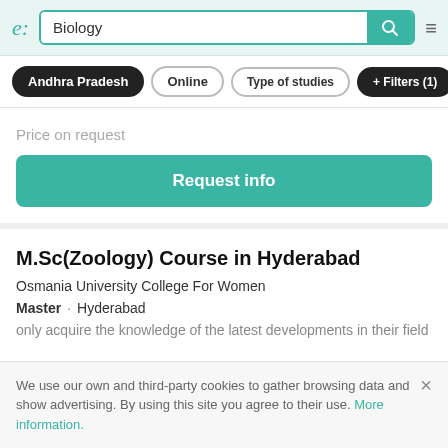e: Biology [search bar with search icon and hamburger menu]
Andhra Pradesh | Online | Type of studies | + Filters (1)
Price on request
Request info
M.Sc(Zoology) Course in Hyderabad
Osmania University College For Women
Master · Hyderabad
only acquire the knowledge of the latest developments in their field but
We use our own and third-party cookies to gather browsing data and show advertising. By using this site you agree to their use. More information.